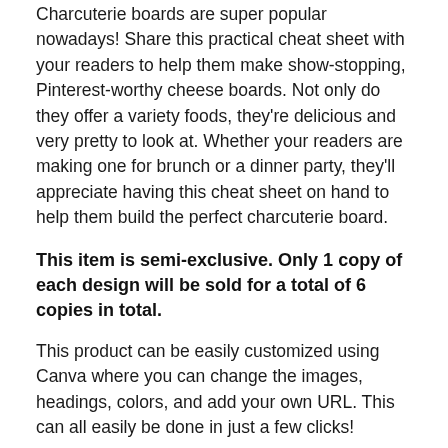Charcuterie boards are super popular nowadays! Share this practical cheat sheet with your readers to help them make show-stopping, Pinterest-worthy cheese boards. Not only do they offer a variety foods, they're delicious and very pretty to look at. Whether your readers are making one for brunch or a dinner party, they'll appreciate having this cheat sheet on hand to help them build the perfect charcuterie board.
This item is semi-exclusive. Only 1 copy of each design will be sold for a total of 6 copies in total.
This product can be easily customized using Canva where you can change the images, headings, colors, and add your own URL. This can all easily be done in just a few clicks!